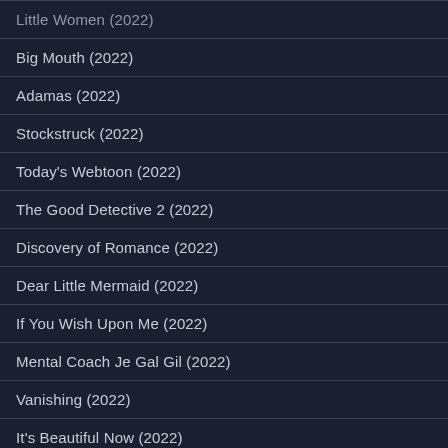Little Women (2022)
Big Mouth (2022)
Adamas (2022)
Stockstruck (2022)
Today's Webtoon (2022)
The Good Detective 2 (2022)
Discovery of Romance (2022)
Dear Little Mermaid (2022)
If You Wish Upon Me (2022)
Mental Coach Je Gal Gil (2022)
Vanishing (2022)
It's Beautiful Now (2022)
Hunt (2022)